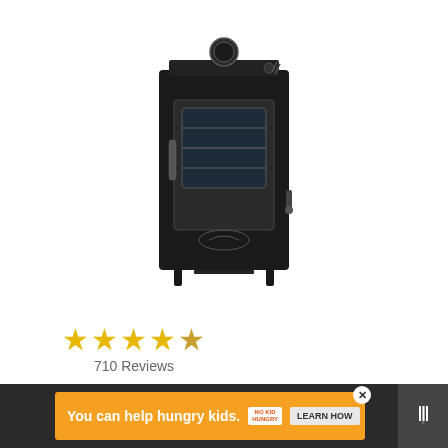[Figure (photo): Black electric smoker - LANDMANN Smoky Mountain 26 inch Electric Smoker with viewing window, black steel exterior, digital controls on top]
★★★★½
710 Reviews
LANDMANN MCO 32954 Landmann Smoky Mountain 26" Electric Smoker-Black-OPP w/Viewing W
[Figure (screenshot): Buy on Amazon button - gold/yellow gradient button with shopping cart icon]
[Figure (screenshot): What's Next panel - thumbnail image with text 'The 10 Best BBQ in...']
You can help hungry kids. NO KID HUNGRY LEARN HOW